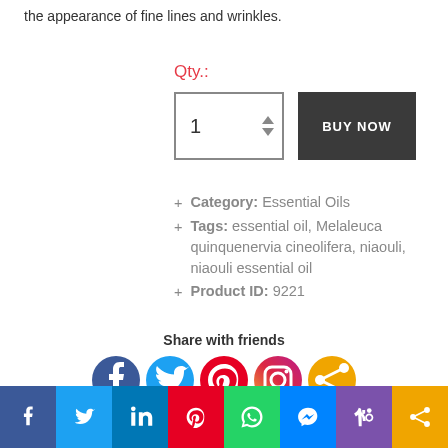the appearance of fine lines and wrinkles.
Qty.:
+ Category: Essential Oils
+ Tags: essential oil, Melaleuca quinquenervia cineolifera, niaouli, niaouli essential oil
+ Product ID: 9221
Share with friends